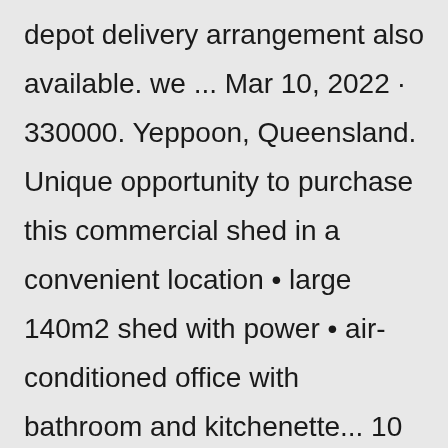depot delivery arrangement also available. we ... Mar 10, 2022 · 330000. Yeppoon, Queensland. Unique opportunity to purchase this commercial shed in a convenient location • large 140m2 shed with power • air-conditioned office with bathroom and kitchenette... 10 Mar. 2022 in Realcommercial. View details. NEW. View photo. House. Warner Building Group can assist with any job from minor renovations